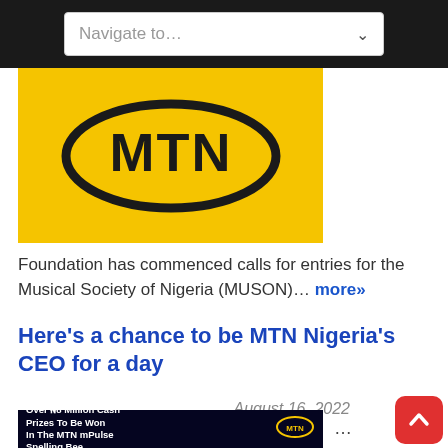[Figure (screenshot): Navigation dropdown bar with 'Navigate to...' placeholder text on dark background]
[Figure (logo): MTN logo — black oval outline with MTN text on yellow/golden background]
Foundation has commenced calls for entries for the Musical Society of Nigeria (MUSON)… more»
Here's a chance to be MTN Nigeria's CEO for a day
August 16, 2022
[Figure (screenshot): MTN advertisement banner: 'Over N8 Million Cash Prizes To Be Won In The MTN mPulse Spelling Bee']